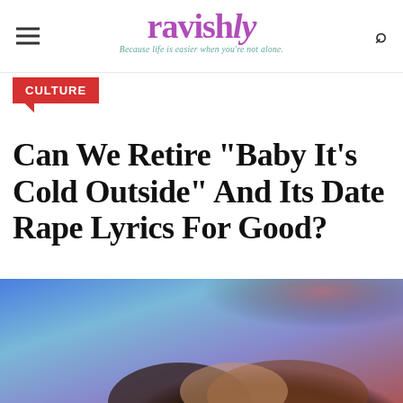ravishly — Because life is easier when you're not alone.
CULTURE
Can We Retire "Baby It's Cold Outside" And Its Date Rape Lyrics For Good?
[Figure (photo): Photo of a woman with curly brown hair, blurred background with blue and red lighting, appearing to be at a music or entertainment venue.]